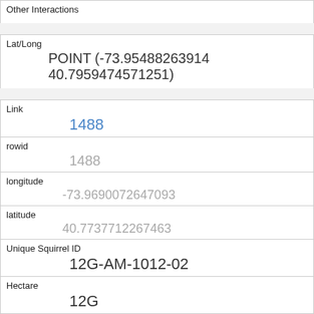| Other Interactions |  |
| Lat/Long | POINT (-73.95488263914 40.7959474571251) |
| Link | 1488 |
| rowid | 1488 |
| longitude | -73.9690072647093 |
| latitude | 40.7737712267463 |
| Unique Squirrel ID | 12G-AM-1012-02 |
| Hectare | 12G |
| Shift | AM |
| Date | 10122018 |